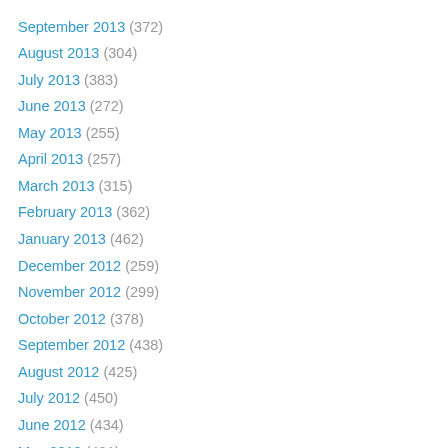September 2013 (372)
August 2013 (304)
July 2013 (383)
June 2013 (272)
May 2013 (255)
April 2013 (257)
March 2013 (315)
February 2013 (362)
January 2013 (462)
December 2012 (259)
November 2012 (299)
October 2012 (378)
September 2012 (438)
August 2012 (425)
July 2012 (450)
June 2012 (434)
May 2012 (401)
April 2012 (405)
March 2012 (421)
February 2012 (456)